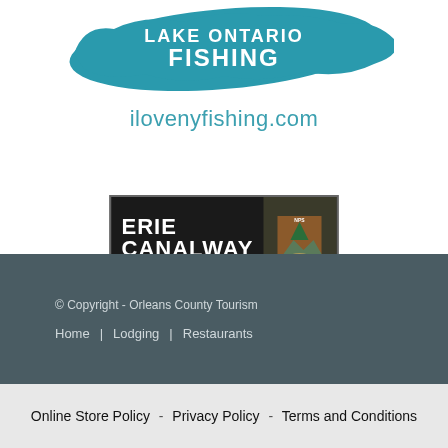[Figure (logo): Lake Ontario Fishing logo with teal fish/lake shape and bold white text on teal background reading 'LAKE ONTARIO FISHING']
ilovenyfishing.com
[Figure (logo): Erie Canalway National Heritage Corridor logo — dark background with white bold text 'ERIE CANALWAY' and NPS arrowhead shield on right side]
© Copyright - Orleans County Tourism
Home | Lodging | Restaurants
Online Store Policy - Privacy Policy - Terms and Conditions